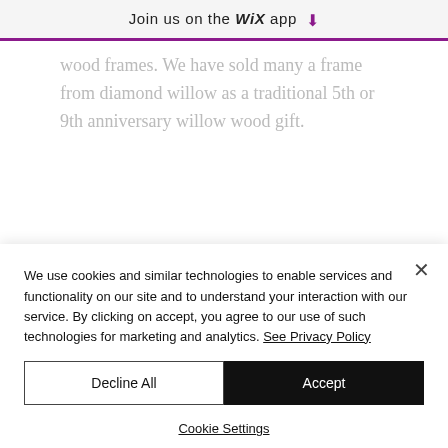Join us on the WiX app ↓
wood frames. We have sold many a frame from diamond willow as a traditional 5th or 9th anniversary willow wood gift.
It is called "diamond willow" not because of its density or hardness
We use cookies and similar technologies to enable services and functionality on our site and to understand your interaction with our service. By clicking on accept, you agree to our use of such technologies for marketing and analytics. See Privacy Policy
Decline All
Accept
Cookie Settings